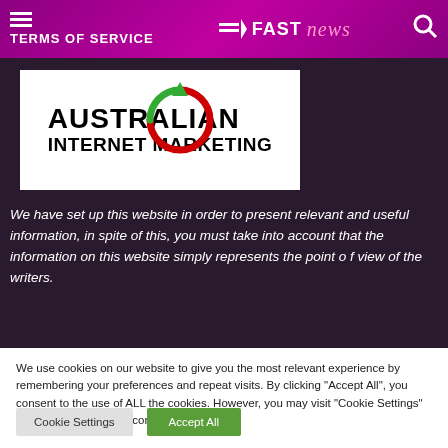TERMS OF SERVICE — FAST NEWS
[Figure (logo): Australian Internet Marketing logo — bold black text on white background with circular arrow icon overlay in green and red]
We have set up this website in order to present relevant and useful information, in spite of this, you must take into account that the information on this website simply represents the point o f view of the writers.
We use cookies on our website to give you the most relevant experience by remembering your preferences and repeat visits. By clicking "Accept All", you consent to the use of ALL the cookies. However, you may visit "Cookie Settings" to provide a controlled consent.